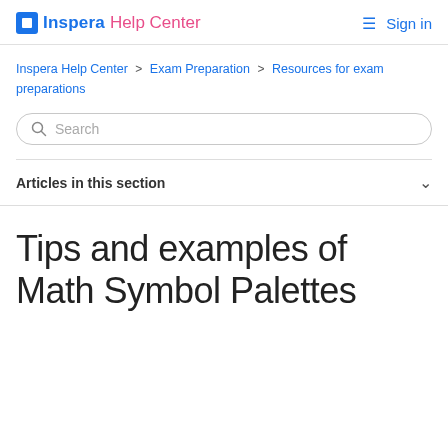Inspera Help Center  Sign in
Inspera Help Center > Exam Preparation > Resources for exam preparations
Search
Articles in this section
Tips and examples of Math Symbol Palettes